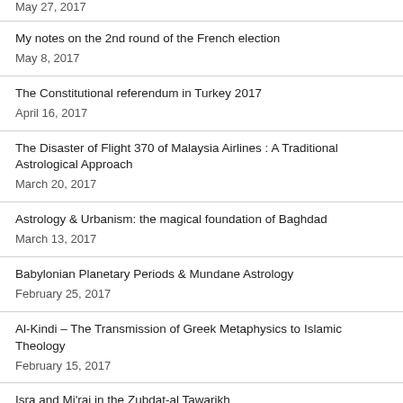May 27, 2017
My notes on the 2nd round of the French election
May 8, 2017
The Constitutional referendum in Turkey 2017
April 16, 2017
The Disaster of Flight 370 of Malaysia Airlines : A Traditional Astrological Approach
March 20, 2017
Astrology & Urbanism: the magical foundation of Baghdad
March 13, 2017
Babylonian Planetary Periods & Mundane Astrology
February 25, 2017
Al-Kindi – The Transmission of Greek Metaphysics to Islamic Theology
February 15, 2017
Isra and Mi'raj in the Zubdat-al Tawarikh
February 15, 2017